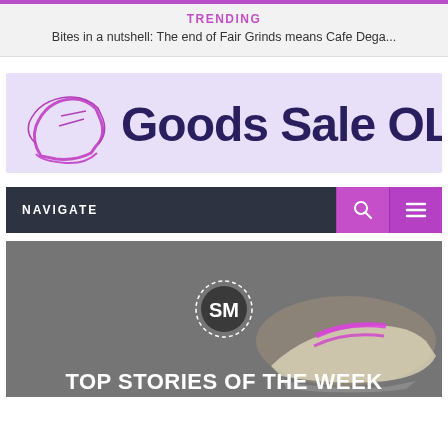TRENDING
Bites in a nutshell: The end of Fair Grinds means Cafe Dega...
[Figure (logo): Goods Sale OL logo banner with sneaker icon on lavender background]
NAVIGATE
[Figure (screenshot): Hero image with SM circle logo and TOP STORIES OF THE WEEK text overlay on dark background with sneaker]